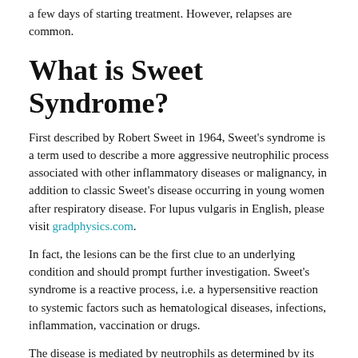a few days of starting treatment. However, relapses are common.
What is Sweet Syndrome?
First described by Robert Sweet in 1964, Sweet's syndrome is a term used to describe a more aggressive neutrophilic process associated with other inflammatory diseases or malignancy, in addition to classic Sweet's disease occurring in young women after respiratory disease. For lupus vulgaris in English, please visit gradphysics.com.
In fact, the lesions can be the first clue to an underlying condition and should prompt further investigation. Sweet's syndrome is a reactive process, i.e. a hypersensitive reaction to systemic factors such as hematological diseases, infections, inflammation, vaccination or drugs.
The disease is mediated by neutrophils as determined by its histopathologic appearance, the neutrophils involved, and response to drugs that affect neutrophil activity. Due to the increase in certain white blood cells, the disease is also known